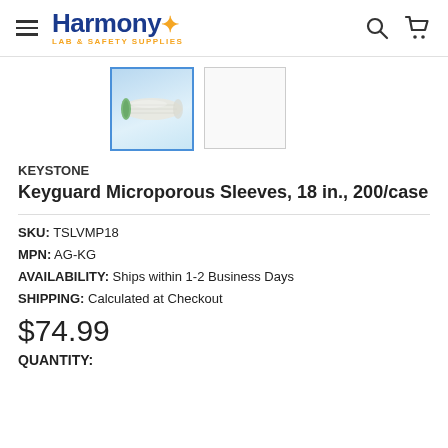Harmony LAB & SAFETY SUPPLIES
[Figure (photo): Product thumbnail showing a Keyguard Microporous Sleeve on a light blue background, with a second blank thumbnail next to it]
KEYSTONE
Keyguard Microporous Sleeves, 18 in., 200/case
SKU: TSLVMP18
MPN: AG-KG
AVAILABILITY: Ships within 1-2 Business Days
SHIPPING: Calculated at Checkout
$74.99
QUANTITY: